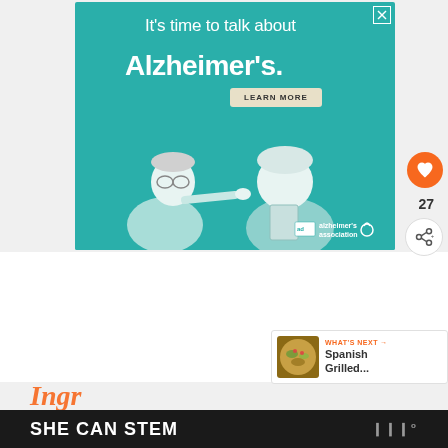[Figure (illustration): Teal/aqua colored advertisement banner for Alzheimer's Association with illustrated figures of an elderly man and a younger person, text reading 'It's time to talk about Alzheimer's.', a LEARN MORE button, URL alz.org/ourstories, and the Alzheimer's Association logo. An X close button appears in the top right corner.]
27
WHAT'S NEXT → Spanish Grilled...
Ingr...
SHE CAN STEM